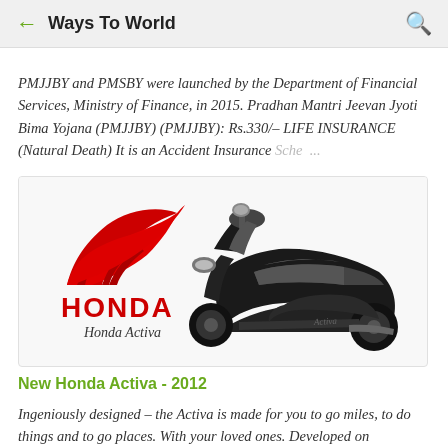Ways To World
PMJJBY and PMSBY were launched by the Department of Financial Services, Ministry of Finance, in 2015. Pradhan Mantri Jeevan Jyoti Bima Yojana (PMJJBY) (PMJJBY): Rs.330/– LIFE INSURANCE (Natural Death) It is an Accident Insurance Sche… …
[Figure (photo): Honda Activa scooter promotional image with Honda logo and text 'Honda Activa' in black, red and white colors]
New Honda Activa - 2012
Ingeniously designed – the Activa is made for you to go miles, to do things and to go places. With your loved ones. Developed on